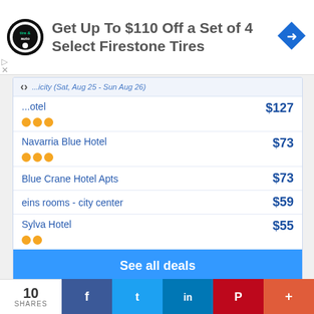[Figure (infographic): Advertisement banner: Firestone Tire & Auto logo on left, text 'Get Up To $110 Off a Set of 4 Select Firestone Tires', blue diamond navigation icon on right]
...otel (partially visible header text with date range)
...otel  $127  ⭐⭐⭐
Navarria Blue Hotel  $73  ⭐⭐⭐
Blue Crane Hotel Apts  $73
eins rooms - city center  $59
Sylva Hotel  $55  ⭐⭐
See all deals
10 SHARES  f  t  in  P  +